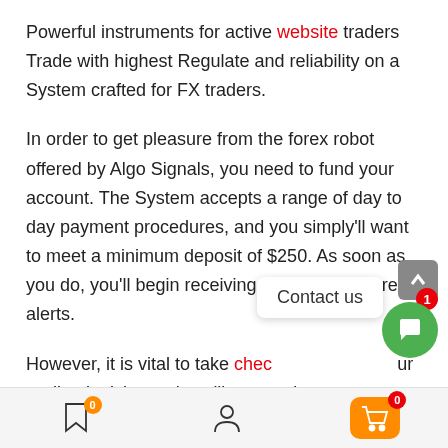Powerful instruments for active website traders Trade with highest Regulate and reliability on a System crafted for FX traders.
In order to get pleasure from the forex robot offered by Algo Signals, you need to fund your account. The System accepts a range of day to day payment procedures, and you simply'll want to meet a minimum deposit of $250. As soon as you do, you'll begin receiving forex trading forex alerts.
However, it is vital to take chec … trading is risky, and you'll want to by no means commit